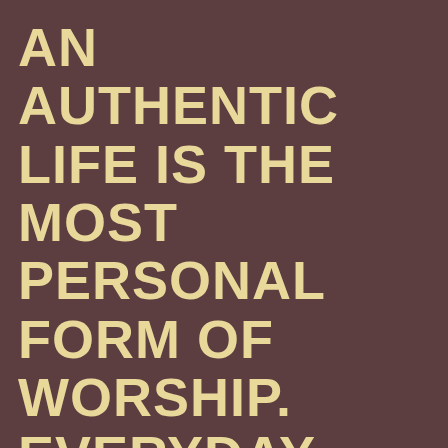AN AUTHENTIC LIFE IS THE MOST PERSONAL FORM OF WORSHIP. EVERYDAY LIFE HAS BECOME MY PRAYER.